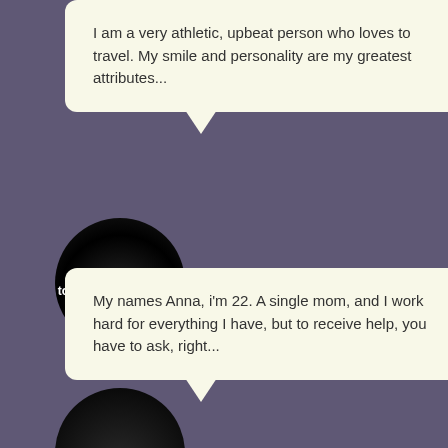I am a very athletic, upbeat person who loves to travel. My smile and personality are my greatest attributes...
[Figure (photo): Profile photo placeholder circle with text 'Available only to logged in members']
Sugar Baby, Abbotsford
My names Anna, i'm 22. A single mom, and I work hard for everything I have, but to receive help, you have to ask, right...
[Figure (photo): Partial profile photo circle at bottom of page]